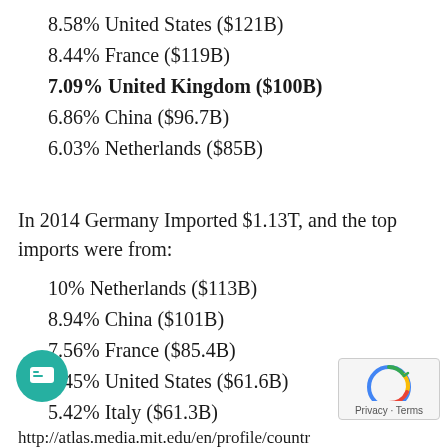8.58% United States ($121B)
8.44% France ($119B)
7.09% United Kingdom ($100B)
6.86% China ($96.7B)
6.03% Netherlands ($85B)
In 2014 Germany Imported $1.13T, and the top imports were from:
10% Netherlands ($113B)
8.94% China ($101B)
7.56% France ($85.4B)
5.45% United States ($61.6B)
5.42% Italy ($61.3B)
http://atlas.media.mit.edu/en/profile/countr